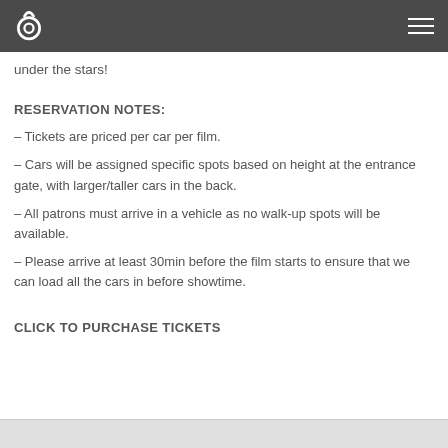under the stars!
RESERVATION NOTES:
– Tickets are priced per car per film.
– Cars will be assigned specific spots based on height at the entrance gate, with larger/taller cars in the back.
– All patrons must arrive in a vehicle as no walk-up spots will be available.
– Please arrive at least 30min before the film starts to ensure that we can load all the cars in before showtime.
CLICK TO PURCHASE TICKETS